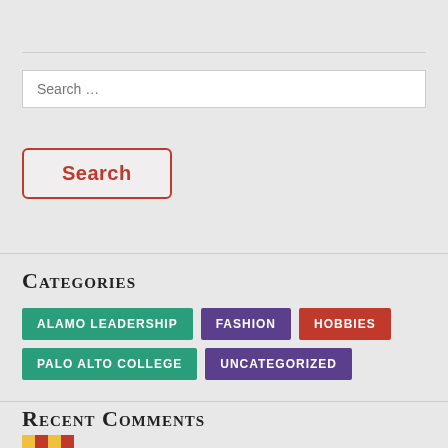Search ...
Search
Categories
ALAMO LEADERSHIP
FASHION
HOBBIES
PALO ALTO COLLEGE
UNCATEGORIZED
Recent Comments
Brittany Bridgeforth on Online dating expands